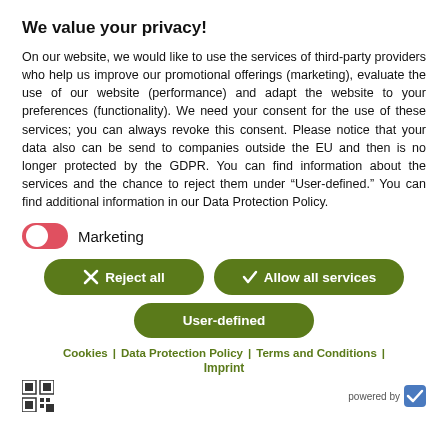We value your privacy!
On our website, we would like to use the services of third-party providers who help us improve our promotional offerings (marketing), evaluate the use of our website (performance) and adapt the website to your preferences (functionality). We need your consent for the use of these services; you can always revoke this consent. Please notice that your data also can be send to companies outside the EU and then is no longer protected by the GDPR. You can find information about the services and the chance to reject them under “User-defined.” You can find additional information in our Data Protection Policy.
Marketing (toggle on)
[Figure (other): Toggle switch UI for Marketing, shown in ON/active state (red/pink toggle)]
Reject all
Allow all services
User-defined
Cookies | Data Protection Policy | Terms and Conditions |
Imprint
powered by [checkmark logo]